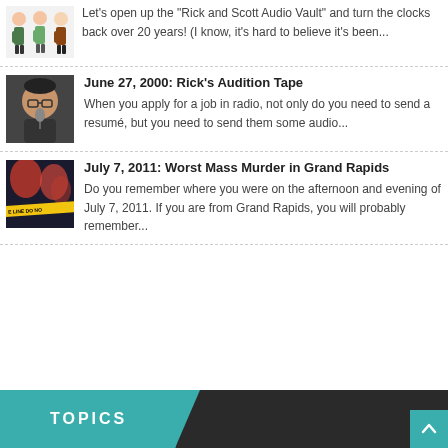Let's open up the "Rick and Scott Audio Vault" and turn the clocks back over 20 years! (I know, it's hard to believe it's been...
June 27, 2000: Rick's Audition Tape
When you apply for a job in radio, not only do you need to send a resumé, but you need to send them some audio...
July 7, 2011: Worst Mass Murder in Grand Rapids
Do you remember where you were on the afternoon and evening of July 7, 2011. If you are from Grand Rapids, you will probably remember...
TOPICS